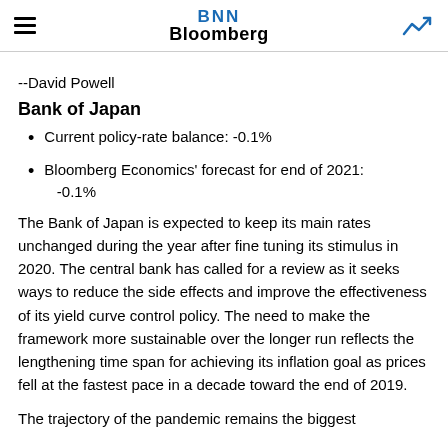BNN Bloomberg
--David Powell
Bank of Japan
Current policy-rate balance: -0.1%
Bloomberg Economics' forecast for end of 2021: -0.1%
The Bank of Japan is expected to keep its main rates unchanged during the year after fine tuning its stimulus in 2020. The central bank has called for a review as it seeks ways to reduce the side effects and improve the effectiveness of its yield curve control policy. The need to make the framework more sustainable over the longer run reflects the lengthening time span for achieving its inflation goal as prices fell at the fastest pace in a decade toward the end of 2019.
The trajectory of the pandemic remains the biggest